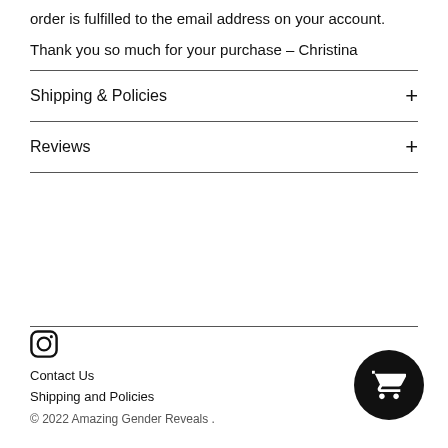order is fulfilled to the email address on your account.
Thank you so much for your purchase – Christina
Shipping & Policies
Reviews
Contact Us
Shipping and Policies
© 2022 Amazing Gender Reveals .